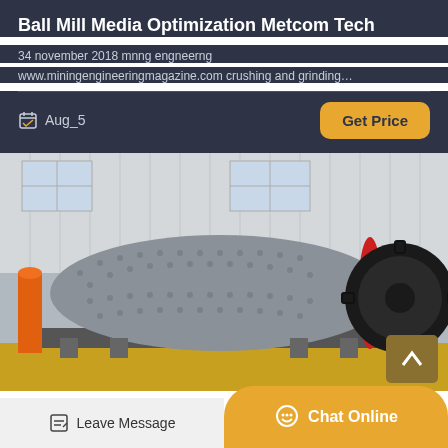Ball Mill Media Optimization Metcom Tech
34 november 2018 mnng engneerng
www.miningengineeringmagazine.com crushing and grinding…
Aug_5
Get Price
[Figure (photo): Industrial ball mill machine — large grey cylindrical drum with red rim mounted on supports, with orange cylinder on left and large black gear wheel on right, inside a warehouse with white corrugated walls]
Leave Message
Chat Online